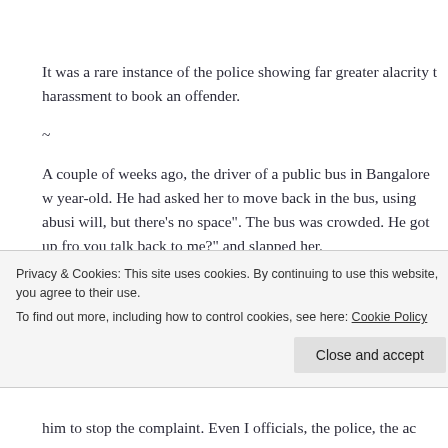It was a rare instance of the police showing far greater alacrity to harassment to book an offender.
~
A couple of weeks ago, the driver of a public bus in Bangalore w year-old. He had asked her to move back in the bus, using abusi will, but there's no space". The bus was crowded. He got up fro you talk back to me?" and slapped her.
Unbeknown to him then, he'd picked on the daughter of a trade
Privacy & Cookies: This site uses cookies. By continuing to use this website, you agree to their use.
To find out more, including how to control cookies, see here: Cookie Policy
him to stop the complaint. Even I officials, the police, the ac